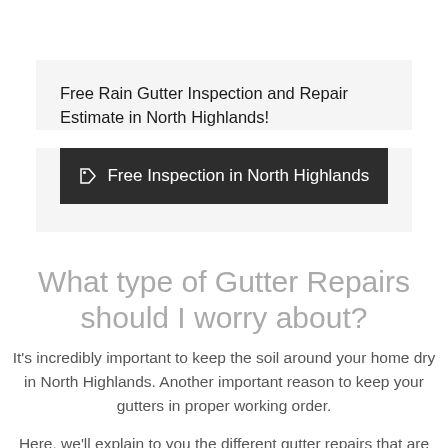Free Rain Gutter Inspection and Repair Estimate in North Highlands!
[Figure (other): Dark button with tag icon reading 'Free Inspection in North Highlands']
What type of Gutter Repairs should I worry about?
It's incredibly important to keep the soil around your home dry in North Highlands. Another important reason to keep your gutters in proper working order.
Here, we'll explain to you the different gutter repairs that are sometimes necessary. Do Gutter Repairs as